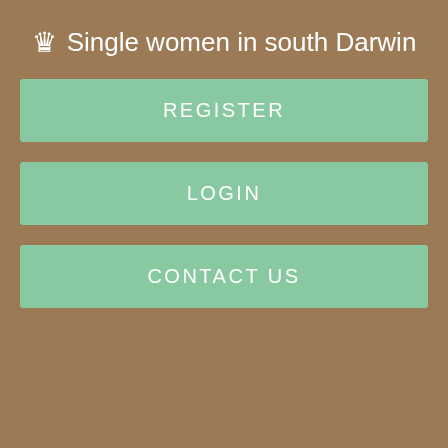♛ Single women in south Darwin
REGISTER
LOGIN
CONTACT US
[Figure (photo): Dark gray rectangular image placeholder area, likely a restaurant photo]
Dine in or take away available. We had take away, and everyone was pleased with their selected dishes. Would definitely recommend.
South Garden Chinese Restaurant – Authentic